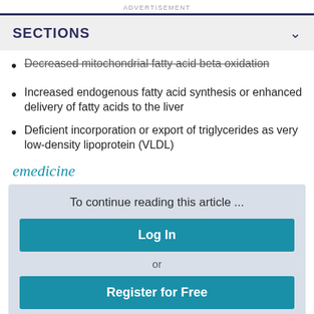ADVERTISEMENT
SECTIONS
Decreased mitochondrial fatty acid beta oxidation
Increased endogenous fatty acid synthesis or enhanced delivery of fatty acids to the liver
Deficient incorporation or export of triglycerides as very low-density lipoprotein (VLDL)
[Figure (logo): eMedicine logo in teal italic font]
To continue reading this article ...
Log In
or
Register for Free